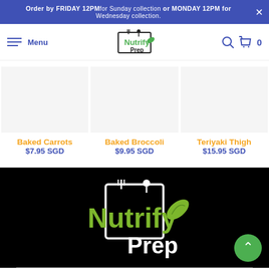Order by FRIDAY 12PM for Sunday collection or MONDAY 12PM for Wednesday collection.
[Figure (logo): NutrifyPrep logo in navbar with fork and spoon icon]
Baked Carrots $7.95 SGD
Baked Broccoli $9.95 SGD
Teriyaki Thigh $15.95 SGD
[Figure (logo): NutrifyPrep large logo on black background footer — green text 'Nutrify' with leaf, white 'Prep' text, white fork and spoon frame icon]